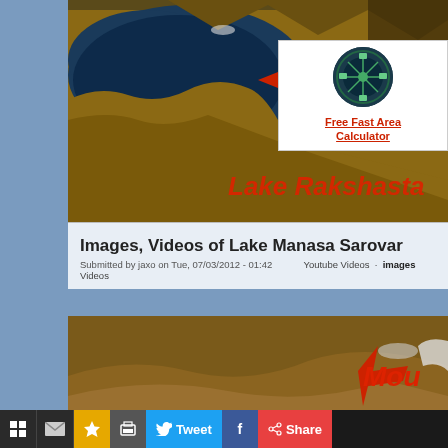[Figure (photo): Satellite aerial image of Lake Rakshasta (annotated with red arrow and red text label 'Lake Rakshasta') with landscape of mountains and blue lake water visible]
[Figure (photo): Small square ad icon showing a circular ferris wheel or similar image on dark background]
Free Fast Area Calculator
Images, Videos of Lake Manasa Sarovar
Submitted by jaxo on Tue, 07/03/2012 - 01:42    Youtube Videos  images  Videos
[Figure (photo): Satellite aerial image of mountain landscape with red arrow pointing to a location, and red text 'Mou' (Mountain) and 'Lake' partially visible, with annotated label]
Tweet  f  Share